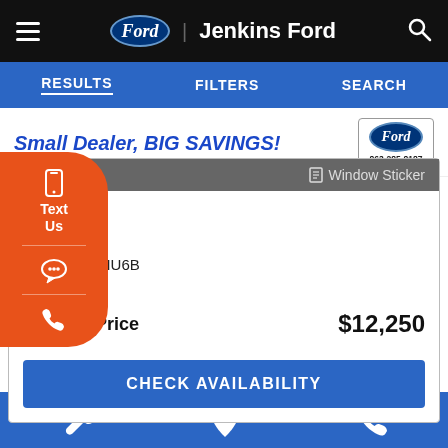Jenkins Ford
RESULTS | FILTERS | SEARCH
Small Dealer, BIG SAVINGS!
Compare | Window Sticker
Text Us
Ext: SILVER
ck #: NF21MU6B
738 mi.
Jenkins Price  $12,250
CHECK AVAILABILITY
Bottom navigation bar with wrench, location, phone icons